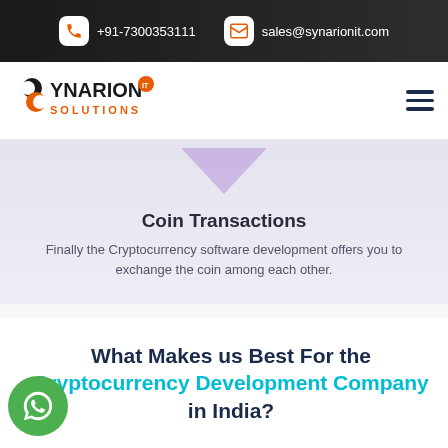+91-7300353111  sales@synarionit.com
[Figure (logo): Synarion IT Solutions logo with hamburger menu]
[Figure (illustration): Purple downward pointing triangle/chevron shape]
Coin Transactions
Finally the Cryptocurrency software development offers you to exchange the coin among each other.
What Makes us Best For the Cryptocurrency Development Company in India?